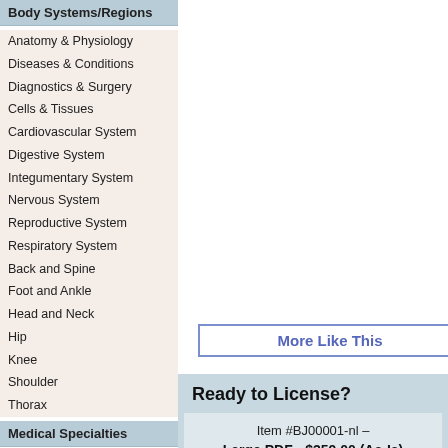Body Systems/Regions
Anatomy & Physiology
Diseases & Conditions
Diagnostics & Surgery
Cells & Tissues
Cardiovascular System
Digestive System
Integumentary System
Nervous System
Reproductive System
Respiratory System
Back and Spine
Foot and Ankle
Head and Neck
Hip
Knee
Shoulder
Thorax
Medical Specialties
Cancer
Cardiology
Dentistry
Editorial
Neurology/Neurosurgery
Ob/Gyn
More Like This
Ready to License?
Item #BJ00001-nl –
Large PDF - $359.00 (As-Is)